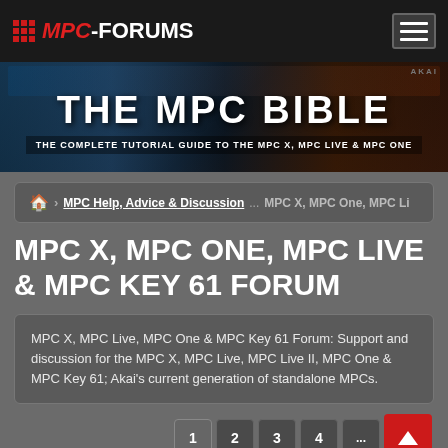MPC-FORUMS
[Figure (screenshot): THE MPC BIBLE - THE COMPLETE TUTORIAL GUIDE TO THE MPC X, MPC LIVE & MPC ONE banner advertisement]
🏠 > MPC Help, Advice & Discussion ... MPC X, MPC One, MPC Li
MPC X, MPC ONE, MPC LIVE & MPC KEY 61 FORUM
MPC X, MPC Live, MPC One & MPC Key 61 Forum: Support and discussion for the MPC X, MPC Live, MPC Live II, MPC One & MPC Key 61; Akai's current generation of standalone MPCs.
1 2 3 4 ...